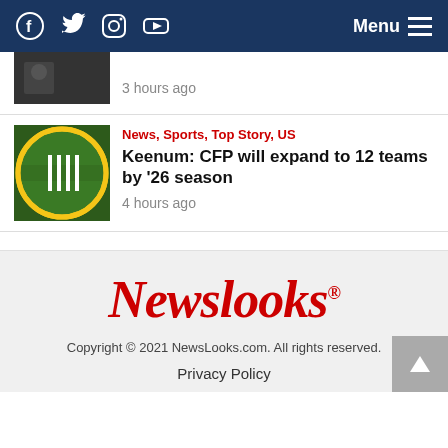Newslooks – News, Sports, Top Story, US – Menu
3 hours ago
News, Sports, Top Story, US
Keenum: CFP will expand to 12 teams by '26 season
4 hours ago
[Figure (logo): Newslooks logo in red serif font]
Copyright © 2021 NewsLooks.com. All rights reserved.
Privacy Policy